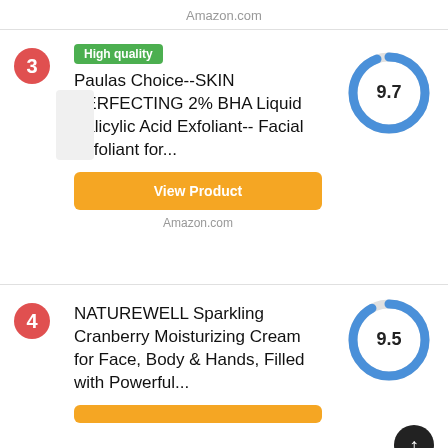Amazon.com
3
[Figure (other): High quality green badge]
Paulas Choice--SKIN PERFECTING 2% BHA Liquid Salicylic Acid Exfoliant-- Facial Exfoliant for...
[Figure (donut-chart): Score 9.7]
View Product
Amazon.com
4
NATUREWELL Sparkling Cranberry Moisturizing Cream for Face, Body & Hands, Filled with Powerful...
[Figure (donut-chart): Score 9.5]